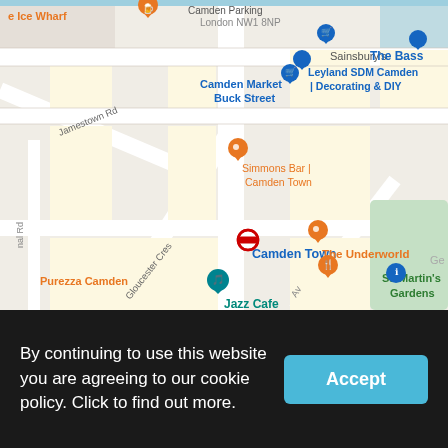[Figure (map): Google Maps screenshot showing Camden Town area in London. Visible labels include: Ice Wharf, Camden Parking London NW1 8NP, Sainsbury's, The Bass, Jamestown Rd, Camden Market Buck Street, Leyland SDM Camden Decorating & DIY, Simmons Bar Camden Town, Camden Town (tube station), The Underworld, Gloucester Cres, Jazz Cafe, St. Martin's Gardens, Purezza Camden, Canal Rd. Map shows roads, buildings, and various pins for restaurants, shops, and landmarks.]
By continuing to use this website you are agreeing to our cookie policy. Click to find out more.
Accept